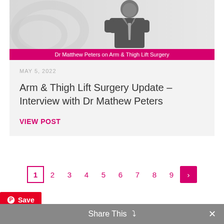[Figure (photo): Photo of Dr Matthew Peters in a suit, black and white, with a pink caption bar reading 'Dr Matthew Peters on Arm & Thigh Lift Surgery']
MAY 5, 2022
Arm & Thigh Lift Surgery Update – Interview with Dr Mathew Peters
VIEW POST
1 2 3 4 5 6 7 8 9 >
[Figure (logo): Pinterest Save button (red background, Pinterest logo, 'Save' text)]
Share This ∨ ✕